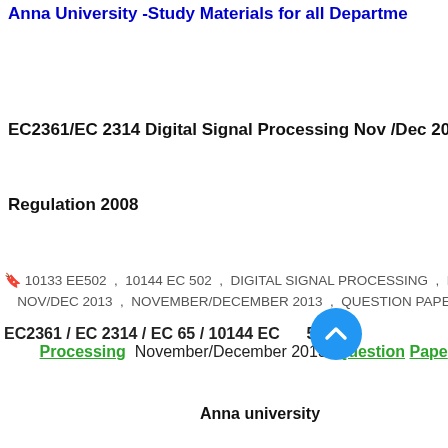Anna University -Study Materials for all Departments
EC2361/EC 2314 Digital Signal Processing Nov /Dec 2013
Regulation 2008
10133 EE502 , 10144 EC 502 , DIGITAL SIGNAL PROCESSING , EC 65 , EC NOV/DEC 2013 , NOVEMBER/DECEMBER 2013 , QUESTION PAPER , R 2008
EC2361 / EC 2314 / EC 65 / 10144 EC502 / 10133 EE502 Digital Signal Processing November/December 2013 Question Paper
Anna university